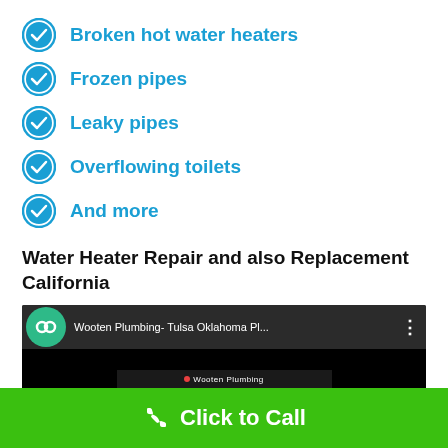Broken hot water heaters
Frozen pipes
Leaky pipes
Overflowing toilets
And more
Water Heater Repair and also Replacement California
[Figure (screenshot): YouTube video thumbnail showing Wooten Plumbing - Tulsa Oklahoma Pl... with a dark video player interface showing text BRIAN AND HIS CREW... ARE]
Click to Call